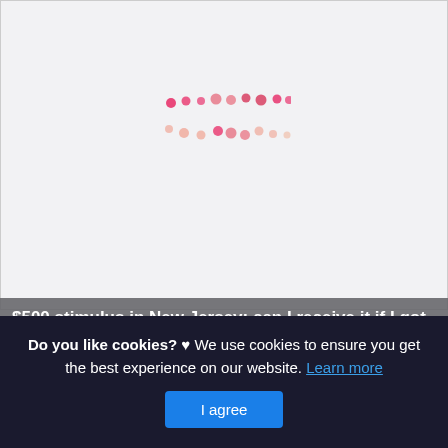[Figure (other): Loading spinner with pink and salmon colored dots arranged in a wave/loading pattern on a light gray background]
$500 stimulus in New Jersey: can I receive it if I got
This is actually a short article or even graphic around the
Do you like cookies? ♥ We use cookies to ensure you get the best experience on our website. Learn more
I agree